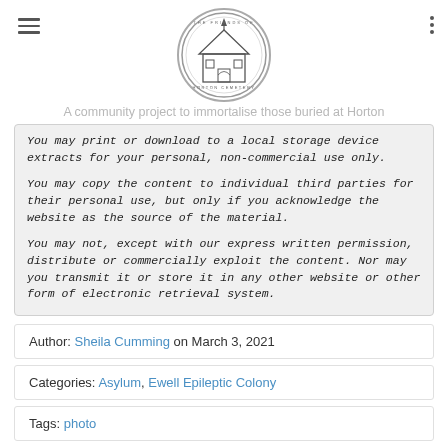[Figure (logo): Circular logo of The Friends of Horton Cemetery with a building illustration]
A community project to immortalise those buried at Horton
You may print or download to a local storage device extracts for your personal, non-commercial use only.
You may copy the content to individual third parties for their personal use, but only if you acknowledge the website as the source of the material.

You may not, except with our express written permission, distribute or commercially exploit the content. Nor may you transmit it or store it in any other website or other form of electronic retrieval system.
Author: Sheila Cumming on March 3, 2021
Categories: Asylum, Ewell Epileptic Colony
Tags: photo